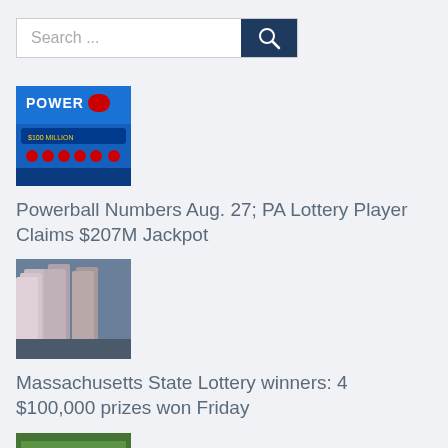Search ...
[Figure (photo): Powerball lottery ticket thumbnail image]
Powerball Numbers Aug. 27; PA Lottery Player Claims $207M Jackpot
[Figure (photo): Massachusetts State Lottery stacked scratch tickets thumbnail image]
Massachusetts State Lottery winners: 4 $100,000 prizes won Friday
[Figure (photo): US dollar bills money thumbnail image]